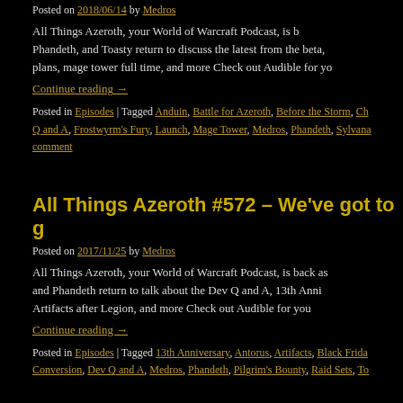Posted on 2018/06/14 by Medros
All Things Azeroth, your World of Warcraft Podcast, is b... Phandeth, and Toasty return to discuss the latest from the beta, plans, mage tower full time, and more Check out Audible for yo...
Continue reading →
Posted in Episodes | Tagged Anduin, Battle for Azeroth, Before the Storm, Ch... Q and A, Frostwyrm's Fury, Launch, Mage Tower, Medros, Phandeth, Sylvana... comment
All Things Azeroth #572 – We've got to g...
Posted on 2017/11/25 by Medros
All Things Azeroth, your World of Warcraft Podcast, is back as... and Phandeth return to talk about the Dev Q and A, 13th Anni... Artifacts after Legion, and more Check out Audible for you...
Continue reading →
Posted in Episodes | Tagged 13th Anniversary, Antorus, Artifacts, Black Frida... Conversion, Dev Q and A, Medros, Phandeth, Pilgrim's Bounty, Raid Sets, To...